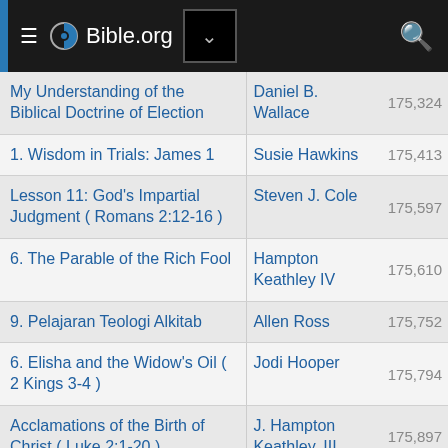Bible.org
| Title | Author | Views |
| --- | --- | --- |
| My Understanding of the Biblical Doctrine of Election | Daniel B. Wallace | 175,324 |
| 1. Wisdom in Trials: James 1 | Susie Hawkins | 175,413 |
| Lesson 11: God's Impartial Judgment ( Romans 2:12-16 ) | Steven J. Cole | 175,597 |
| 6. The Parable of the Rich Fool | Hampton Keathley IV | 175,610 |
| 9. Pelajaran Teologi Alkitab | Allen Ross | 175,752 |
| 6. Elisha and the Widow's Oil ( 2 Kings 3-4 ) | Jodi Hooper | 175,794 |
| Acclamations of the Birth of Christ ( Luke 2:1-20 ) | J. Hampton Keathley, III | 175,897 |